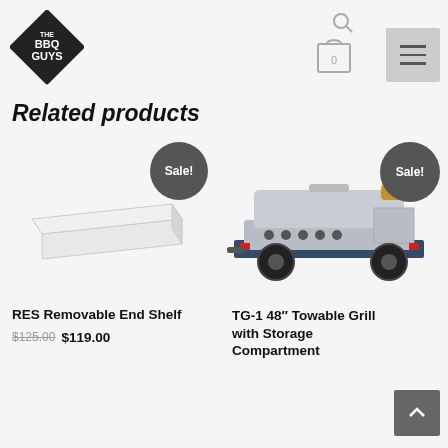[Figure (logo): The BBQ Guys logo - black diamond shape with white text]
Related products
[Figure (illustration): RES Removable End Shelf product photo - white/silver shelf panel]
Sale!
RES Removable End Shelf
$125.00 $119.00
[Figure (illustration): TG-1 48 Towable Grill with Storage Compartment product photo - stainless steel grill on trailer]
Sale!
TG-1 48" Towable Grill with Storage Compartment